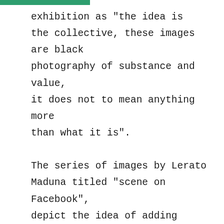exhibition as "the idea is the collective, these images are black photography of substance and value, it does not to mean anything more than what it is".

The series of images by Lerato Maduna titled "scene on Facebook", depict the idea of adding personal value to an image. All 25 images (shot with a cell phone), encourage the viewer to look at everyday objects and interpret something more